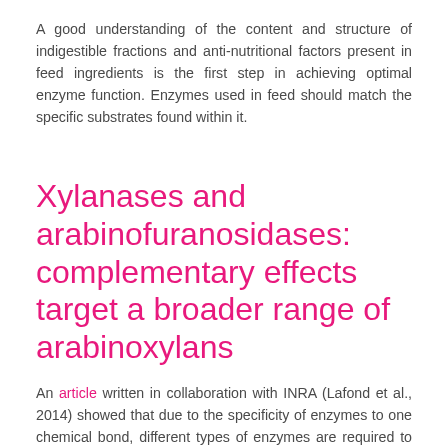A good understanding of the content and structure of indigestible fractions and anti-nutritional factors present in feed ingredients is the first step in achieving optimal enzyme function. Enzymes used in feed should match the specific substrates found within it.
Xylanases and arabinofuranosidases: complementary effects target a broader range of arabinoxylans
An article written in collaboration with INRA (Lafond et al., 2014) showed that due to the specificity of enzymes to one chemical bond, different types of enzymes are required to break-down arabinoxylans. Endoxylanases acts to hydrolyse the xylose backbone, however their activity is frequently hampered by substitution with arabinose residues. To be